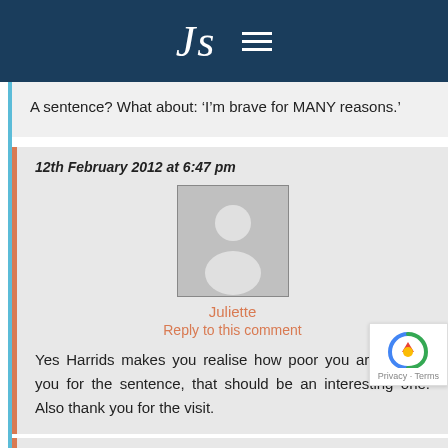[Figure (logo): Website header with cursive 'Js' logo and hamburger menu icon on dark blue background]
A sentence? What about: ‘I’m brave for MANY reasons.’
12th February 2012 at 6:47 pm
[Figure (photo): Generic user avatar placeholder - grey silhouette of a person on grey background with border]
Juliette
Reply to this comment
Yes Harrids makes you realise how poor you are! Thank you for the sentence, that should be an interesting one. Also thank you for the visit.